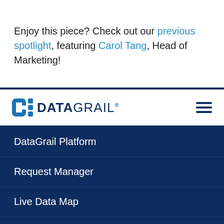Enjoy this piece? Check out our previous spotlight, featuring Carol Tang, Head of Marketing!
[Figure (logo): DataGrail logo with DG icon and hamburger menu icon]
DataGrail Platform
Request Manager
Live Data Map
Resources
Blog
Reports